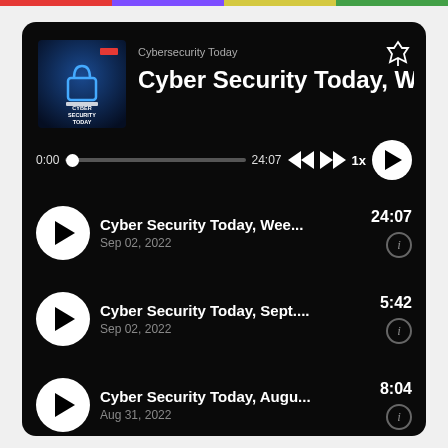Cybersecurity Today
Cyber Security Today, Wee...
0:00   24:07   1x
Cyber Security Today, Wee...  Sep 02, 2022  24:07
Cyber Security Today, Sept....  Sep 02, 2022  5:42
Cyber Security Today, Augu...  Aug 31, 2022  8:04
Cyber Security Today, Augu...  Aug 29, 2022  6:44